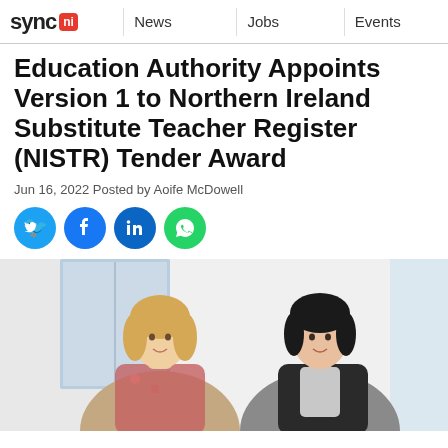sync ni | News | Jobs | Events
Education Authority Appoints Version 1 to Northern Ireland Substitute Teacher Register (NISTR) Tender Award
Jun 16, 2022 Posted by Aoife McDowell
[Figure (infographic): Social share buttons: Twitter, Facebook, LinkedIn, WhatsApp]
[Figure (photo): Two women posing for a photo in a bright office setting. One has blonde hair and is wearing a floral top; the other has dark hair and is wearing a dark blazer.]